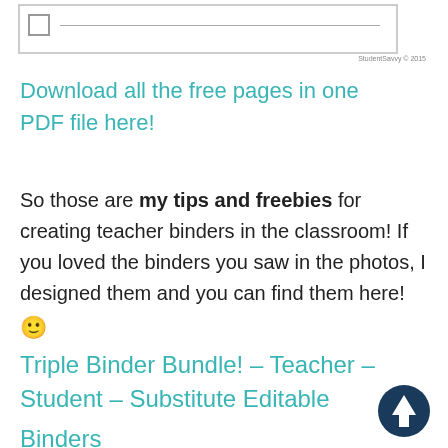[Figure (other): Bottom portion of a worksheet with a checkbox and a line inside a bordered box, with a copyright notice 'StudentSavvy © 2015' at the bottom right]
Download all the free pages in one PDF file here!
So those are my tips and freebies for creating teacher binders in the classroom! If you loved the binders you saw in the photos, I designed them and you can find them here! 🙂
Triple Binder Bundle! – Teacher – Student – Substitute Editable Binders